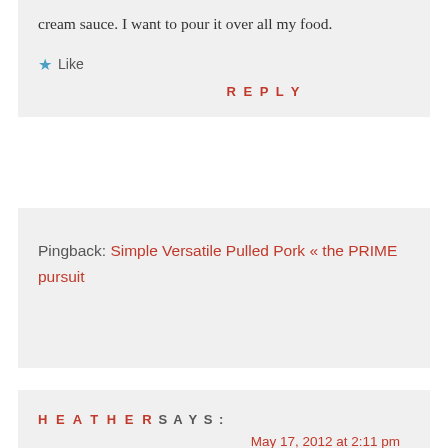cream sauce. I want to pour it over all my food.
★ Like
REPLY
Pingback: Simple Versatile Pulled Pork « the PRIME pursuit
HEATHER SAYS:
May 17, 2012 at 2:11 pm